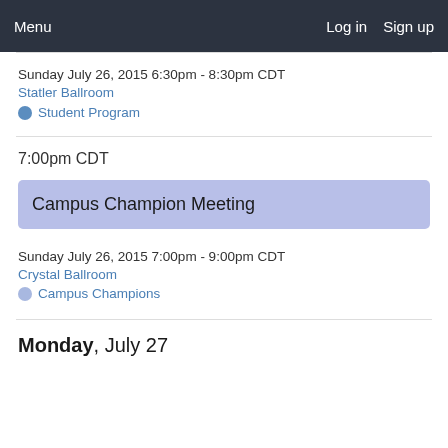Menu   Log in   Sign up
Sunday July 26, 2015 6:30pm - 8:30pm CDT
Statler Ballroom
Student Program
7:00pm CDT
Campus Champion Meeting
Sunday July 26, 2015 7:00pm - 9:00pm CDT
Crystal Ballroom
Campus Champions
Monday, July 27